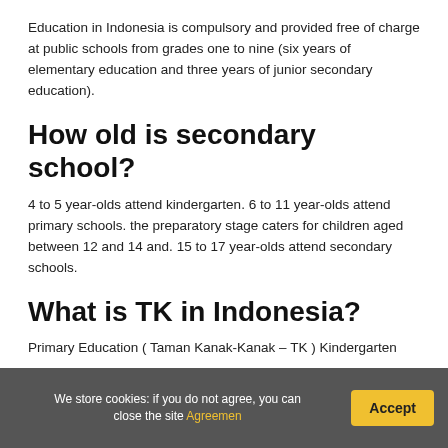Education in Indonesia is compulsory and provided free of charge at public schools from grades one to nine (six years of elementary education and three years of junior secondary education).
How old is secondary school?
4 to 5 year-olds attend kindergarten. 6 to 11 year-olds attend primary schools. the preparatory stage caters for children aged between 12 and 14 and. 15 to 17 year-olds attend secondary schools.
What is TK in Indonesia?
Primary Education ( Taman Kanak-Kanak – TK ) Kindergarten
We store cookies: if you do not agree, you can close the site Agreemen  Accept